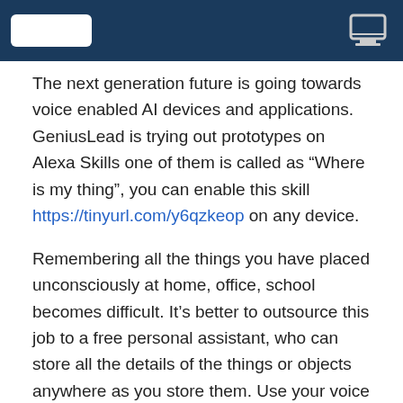[Figure (illustration): Dark blue banner header with a white rounded rectangle logo placeholder on the left and a computer/monitor icon on the right]
The next generation future is going towards voice enabled AI devices and applications. GeniusLead is trying out prototypes on Alexa Skills one of them is called as “Where is my thing”, you can enable this skill https://tinyurl.com/y6qzkeop on any device.
Remembering all the things you have placed unconsciously at home, office, school becomes difficult. It’s better to outsource this job to a free personal assistant, who can store all the details of the things or objects anywhere as you store them. Use your voice command and ask Alexa to store any object at home, and retrieve any information any time. Example : Say “Remember” “Land registry documents is at my office desk at fourth rack”. Then ask alexa “Where is my” “Land Registry